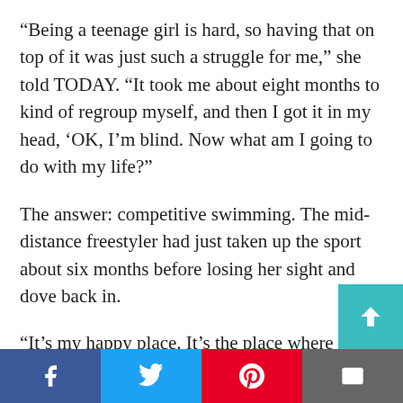“Being a teenage girl is hard, so having that on top of it was just such a struggle for me,” she told TODAY. “It took me about eight months to kind of regroup myself, and then I got it in my head, ‘OK, I’m blind. Now what am I going to do with my life?”
The answer: competitive swimming. The mid-distance freestyler had just taken up the sport about six months before losing her sight and dove back in.
“It’s my happy place. It’s the place where I feel like I don’t have a disability and I feel like that’s the only place where I feel free. When I dive in the [water, I become a